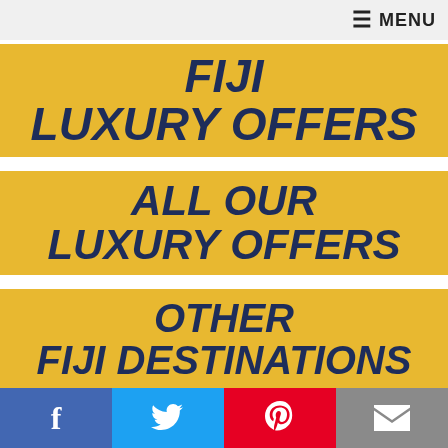MENU
FIJI
LUXURY OFFERS
ALL OUR
LUXURY OFFERS
OTHER
FIJI DESTINATIONS
Facebook | Twitter | Pinterest | Email